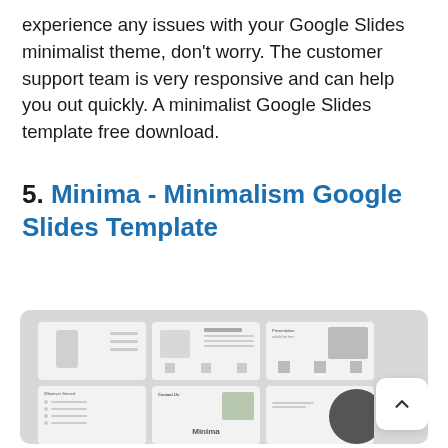experience any issues with your Google Slides minimalist theme, don't worry. The customer support team is very responsive and can help you out quickly. A minimalist Google Slides template free download.
5. Minima - Minimalism Google Slides Template
[Figure (screenshot): Screenshot of the Minima Minimalism Google Slides Template showing a grid of slide thumbnails including phone mockup slides, contact/portfolio slides, and a 'Minima' branded slide, on a light grey background. A scroll-up button is visible in the bottom right.]